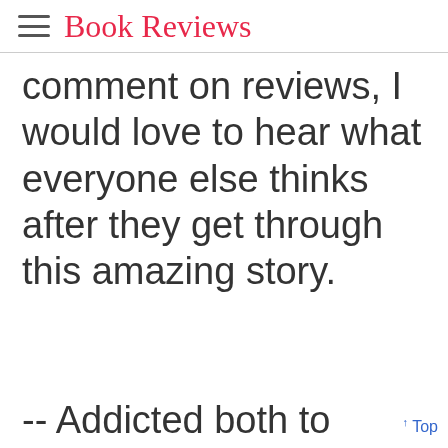Book Reviews
comment on reviews, I would love to hear what everyone else thinks after they get through this amazing story.
-- Addicted both to
↑ Top